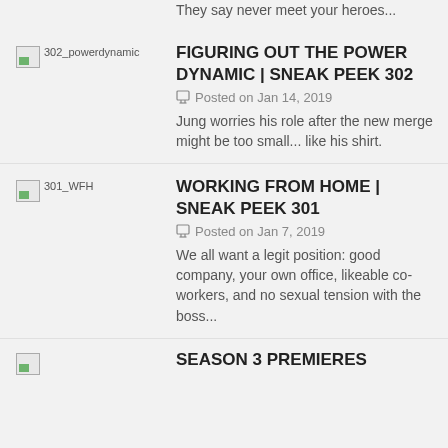They say never meet your heroes...
FIGURING OUT THE POWER DYNAMIC | SNEAK PEEK 302
Posted on Jan 14, 2019
Jung worries his role after the new merge might be too small... like his shirt.
WORKING FROM HOME | SNEAK PEEK 301
Posted on Jan 7, 2019
We all want a legit position: good company, your own office, likeable co-workers, and no sexual tension with the boss...
SEASON 3 PREMIERES